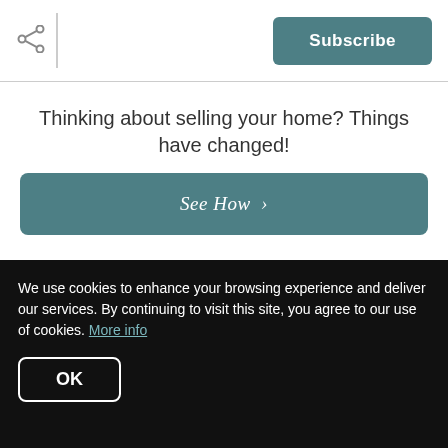Subscribe
Thinking about selling your home? Things have changed!
See How >
the End of 2021? Here's What You Should Do
We use cookies to enhance your browsing experience and deliver our services. By continuing to visit this site, you agree to our use of cookies. More info
OK